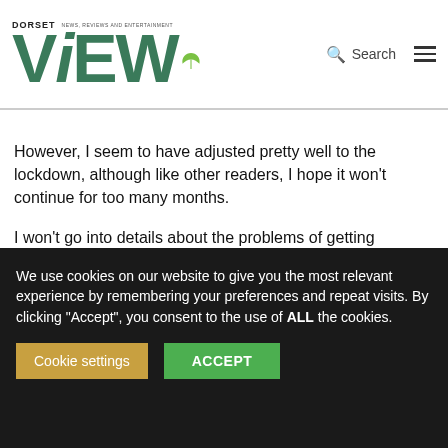DORSET VIEW — NEWS, REVIEWS AND ENTERTAINMENT
However, I seem to have adjusted pretty well to the lockdown, although like other readers, I hope it won't continue for too many months.
I won't go into details about the problems of getting supplies – you can have many happy hours trying to find a supermarket slot – however, we have managed to source items from smaller outlets.
We use cookies on our website to give you the most relevant experience by remembering your preferences and repeat visits. By clicking "Accept", you consent to the use of ALL the cookies.